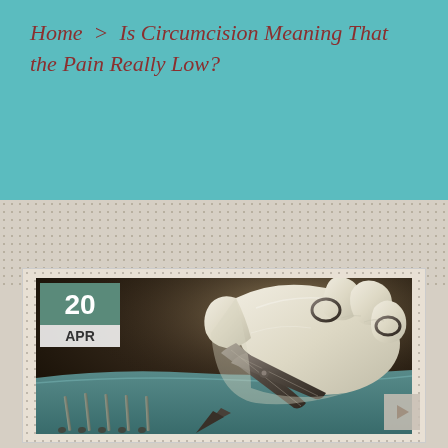Home > Is Circumcision Meaning That the Pain Really Low?
[Figure (photo): Medical gloved hand holding surgical scissors over a surgical field with instruments laid out on a green drape. Date badge shows 20 APR in top-left corner.]